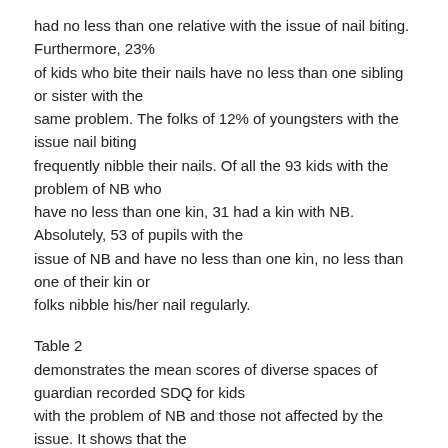had no less than one relative with the issue of nail biting. Furthermore, 23% of kids who bite their nails have no less than one sibling or sister with the same problem. The folks of 12% of youngsters with the issue nail biting frequently nibble their nails. Of all the 93 kids with the problem of NB who have no less than one kin, 31 had a kin with NB. Absolutely, 53 of pupils with the issue of NB and have no less than one kin, no less than one of their kin or folks nibble his/her nail regularly.
Table 2 demonstrates the mean scores of diverse spaces of guardian recorded SDQ for kids with the problem of NB and those not affected by the issue. It shows that the scores of prosaically conduct score, emotional score, and behavior score are